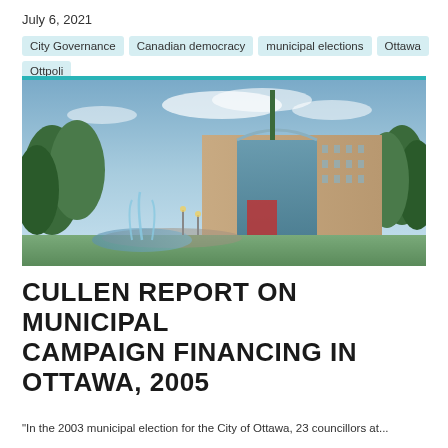July 6, 2021
City Governance
Canadian democracy
municipal elections
Ottawa
Ottpoli
[Figure (photo): Exterior photo of Ottawa City Hall building with fountain plaza, trees, and blue sky]
CULLEN REPORT ON MUNICIPAL CAMPAIGN FINANCING IN OTTAWA, 2005
"In the 2003 municipal election for the City of Ottawa, 23 councillors at...